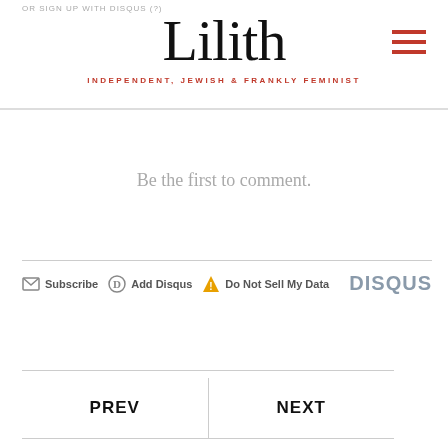OR SIGN UP WITH DISQUS | Lilith — INDEPENDENT, JEWISH & FRANKLY FEMINIST
Be the first to comment.
Subscribe  Add Disqus  Do Not Sell My Data  DISQUS
PREV
NEXT